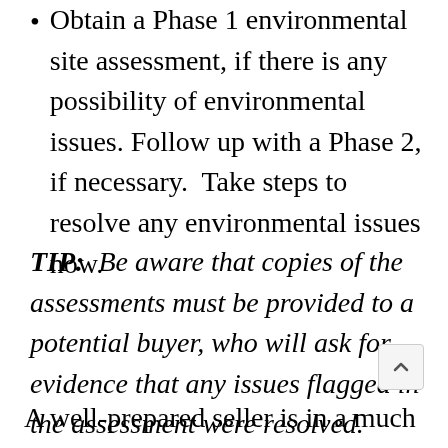Obtain a Phase 1 environmental site assessment, if there is any possibility of environmental issues. Follow up with a Phase 2, if necessary. Take steps to resolve any environmental issues now.
TIP: Be aware that copies of the assessments must be provided to a potential buyer, who will ask for evidence that any issues flagged in the assessment were resolved.
A well-prepared seller is in a much better